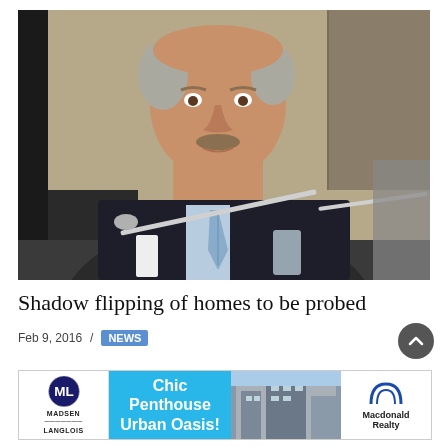[Figure (photo): A middle-aged man with a mustache in a dark suit and light blue tie, sitting at a table with a microphone in front of him, at what appears to be a formal meeting or hearing.]
Shadow flipping of homes to be probed
Feb 9, 2016 / NEWS
[Figure (other): Advertisement for Macdonald Realty featuring Chic Penthouse Urban Oasis, with Madsen Langlois logo on the left and Macdonald Realty logo on the right.]